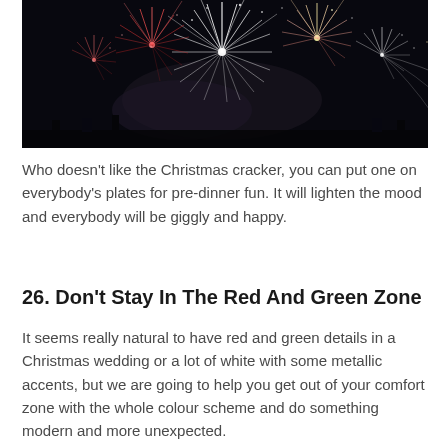[Figure (photo): Fireworks display against a dark night sky, showing colorful bursts of red, white, and gold fireworks.]
Who doesn't like the Christmas cracker, you can put one on everybody's plates for pre-dinner fun. It will lighten the mood and everybody will be giggly and happy.
26. Don't Stay In The Red And Green Zone
It seems really natural to have red and green details in a Christmas wedding or a lot of white with some metallic accents, but we are going to help you get out of your comfort zone with the whole colour scheme and do something modern and more unexpected.